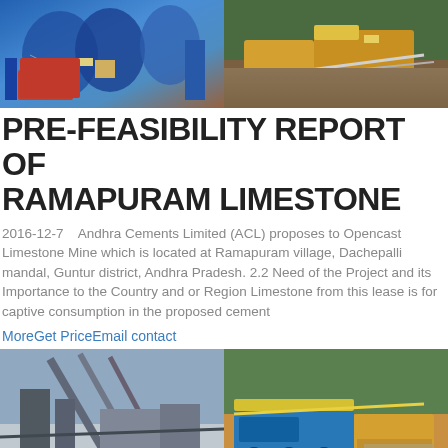[Figure (photo): Two photos side by side: left shows two people standing near large blue industrial machinery; right shows yellow and blue mining/crushing equipment outdoors.]
PRE-FEASIBILITY REPORT OF RAMAPURAM LIMESTONE
2016-12-7    Andhra Cements Limited (ACL) proposes to Opencast Limestone Mine which is located at Ramapuram village, Dachepalli mandal, Guntur district, Andhra Pradesh. 2.2 Need of the Project and its Importance to the Country and or Region Limestone from this lease is for captive consumption in the proposed cement
MoreGet PriceEmail contact
[Figure (photo): Two photos side by side: left shows industrial conveyor/processing plant structure in grey tones; right shows blue and yellow mobile crushing/screening equipment with aggregate pile.]
Successful Auctions so far - mines.gov